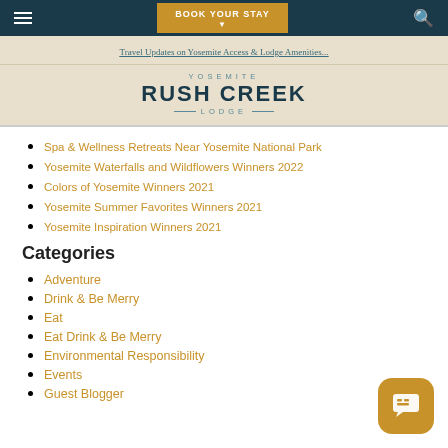BOOK YOUR STAY
Travel Updates on Yosemite Access & Lodge Amenities...
[Figure (logo): Yosemite Rush Creek Lodge logo with decorative lines]
Spa & Wellness Retreats Near Yosemite National Park
Yosemite Waterfalls and Wildflowers Winners 2022
Colors of Yosemite Winners 2021
Yosemite Summer Favorites Winners 2021
Yosemite Inspiration Winners 2021
Categories
Adventure
Drink & Be Merry
Eat
Eat Drink & Be Merry
Environmental Responsibility
Events
Guest Blogger